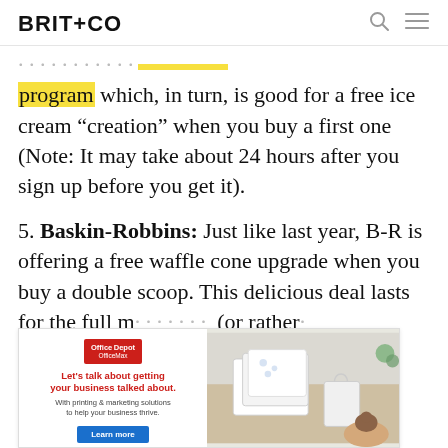BRIT+CO
program which, in turn, is good for a free ice cream “creation” when you buy a first one (Note: It may take about 24 hours after you sign up before you get it).
5. Baskin-Robbins: Just like last year, B-R is offering a free waffle cone upgrade when you buy a double scoop. This delicious deal lasts for the full month of July, which is approximately (or rather
[Figure (screenshot): Office Depot OfficeMax advertisement with red logo, headline 'Let’s talk about getting your business talked about.', subtext 'With printing & marketing solutions to help your business thrive.', a blue Learn more button, and a photo of office/stationery products on a desk.]